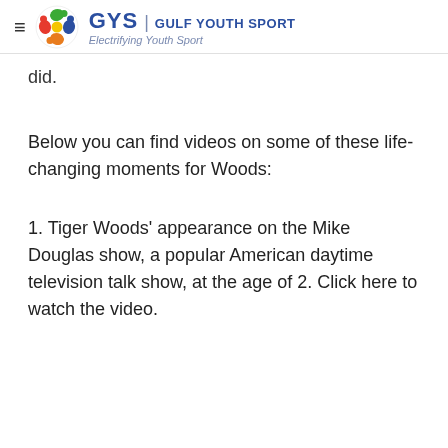GYS | GULF YOUTH SPORT — Electrifying Youth Sport
did.
Below you can find videos on some of these life-changing moments for Woods:
1. Tiger Woods' appearance on the Mike Douglas show, a popular American daytime television talk show, at the age of 2. Click here to watch the video.